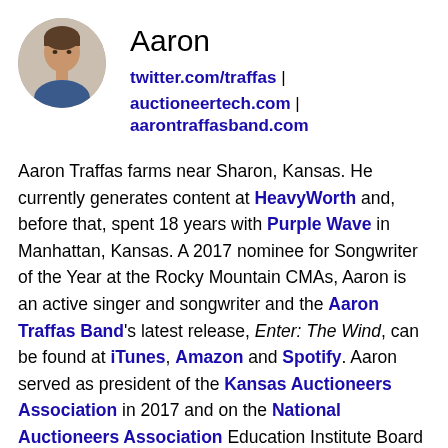[Figure (photo): Small circular portrait photo of Aaron Traffas, a man with short dark hair.]
Aaron
twitter.com/traffas | auctioneertech.com | aarontraffasband.com
Aaron Traffas farms near Sharon, Kansas. He currently generates content at HeavyWorth and, before that, spent 18 years with Purple Wave in Manhattan, Kansas. A 2017 nominee for Songwriter of the Year at the Rocky Mountain CMAs, Aaron is an active singer and songwriter and the Aaron Traffas Band's latest release, Enter: The Wind, can be found at iTunes, Amazon and Spotify. Aaron served as president of the Kansas Auctioneers Association in 2017 and on the National Auctioneers Association Education Institute Board of Trustees from 2009 through 2013. An active contract bid caller, he has advanced to the finals in multiple state auctioneer contests.